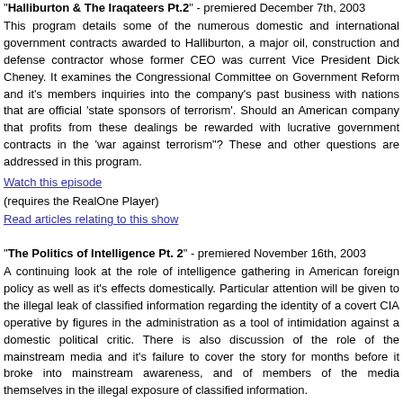"Halliburton & The Iraqateers Pt.2" - premiered December 7th, 2003
This program details some of the numerous domestic and international government contracts awarded to Halliburton, a major oil, construction and defense contractor whose former CEO was current Vice President Dick Cheney. It examines the Congressional Committee on Government Reform and it's members inquiries into the company's past business with nations that are official 'state sponsors of terrorism'. Should an American company that profits from these dealings be rewarded with lucrative government contracts in the 'war against terrorism"? These and other questions are addressed in this program.
Watch this episode (requires the RealOne Player)
Read articles relating to this show
"The Politics of Intelligence Pt. 2" - premiered November 16th, 2003
A continuing look at the role of intelligence gathering in American foreign policy as well as it's effects domestically. Particular attention will be given to the illegal leak of classified information regarding the identity of a covert CIA operative by figures in the administration as a tool of intimidation against a domestic political critic. There is also discussion of the role of the mainstream media and it's failure to cover the story for months before it broke into mainstream awareness, and of members of the media themselves in the illegal exposure of classified information.
Watch this episode (requires the RealOne Player)
Read articles relating to this show
"The Politics of Intelligence" - premeired November 2nd, 2003
A look at the role of intelligence gathering in American foreign policy as well as it's effects domestically and what is at stake in the debate over the potential politicization of the normally apolitical world of intelligence gathering in this country, and the effect that has had on the case made for the war in Iraq. Also discussed is the illegal leak of classified information regarding the identity of a covert CIA operative by figures in the Bush administration as a tool of intimidation against a domestic political critic.
Watch this episode (requires the RealOne Player)
Read articles relating to this show
"Supporting Our Troops"- premeired October 19th, 2003
A discussion concerning what exactly that means and what are the best means and methods of doing so. Of particular importance in light of the ongoing two-front war our military is currently fighting and the sacrifices being asked to stretch the resources and abilities of our fighting men and women, both there and th...